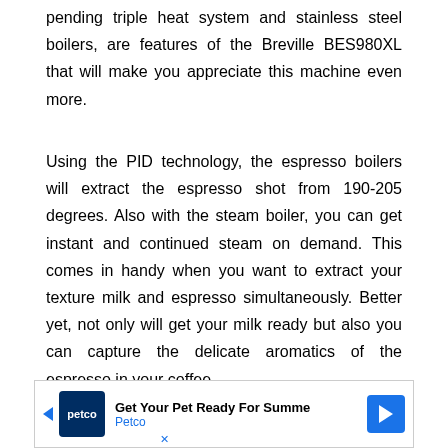pending triple heat system and stainless steel boilers, are features of the Breville BES980XL that will make you appreciate this machine even more.
Using the PID technology, the espresso boilers will extract the espresso shot from 190-205 degrees. Also with the steam boiler, you can get instant and continued steam on demand. This comes in handy when you want to extract your texture milk and espresso simultaneously. Better yet, not only will get your milk ready but also you can capture the delicate aromatics of the espresso in your coffee.
In addition, if you like less acidity and bitterness in your shot, the featured Over Pressure Valve (OPV) will help
[Figure (other): Petco advertisement banner: 'Get Your Pet Ready For Summe' with Petco logo and blue arrow button on right]